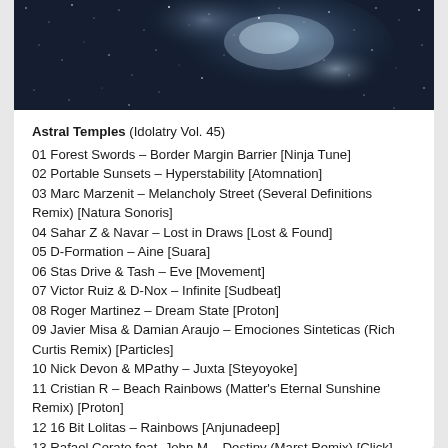[Figure (photo): Night sky / nebula photo, dark blue with stars and cloud-like light formations]
Astral Temples (Idolatry Vol. 45)
01 Forest Swords – Border Margin Barrier [Ninja Tune]
02 Portable Sunsets – Hyperstability [Atomnation]
03 Marc Marzenit – Melancholy Street (Several Definitions Remix) [Natura Sonoris]
04 Sahar Z & Navar – Lost in Draws [Lost & Found]
05 D-Formation – Aine [Suara]
06 Stas Drive & Tash – Eve [Movement]
07 Victor Ruiz & D-Nox – Infinite [Sudbeat]
08 Roger Martinez – Dream State [Proton]
09 Javier Misa & Damian Araujo – Emociones Sinteticas (Rich Curtis Remix) [Particles]
10 Nick Devon & MPathy – Juxta [Steyoyoke]
11 Cristian R – Beach Rainbows (Matter's Eternal Sunshine Remix) [Proton]
12 16 Bit Lolitas – Rainbows [Anjunadeep]
13 Rafael Cerato feat. John M – Destiny (Marst Remix) [Click]
14 Soukie & Windish – Would You Swallow Your Thoughts?